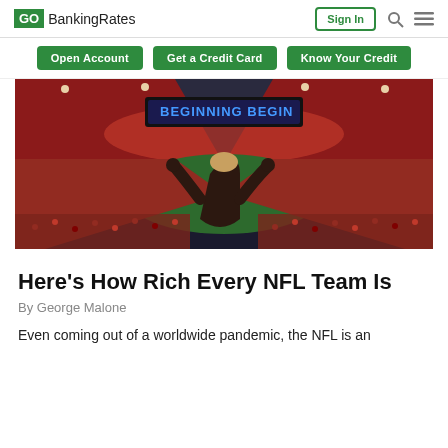GO BankingRates | Sign In
Open Account | Get a Credit Card | Know Your Credit
[Figure (photo): Interior view of a packed NFL stadium from behind a fan with arms raised, showing the field below and large scoreboard screens reading 'BEGINNING BEGIN']
Here's How Rich Every NFL Team Is
By George Malone
Even coming out of a worldwide pandemic, the NFL is an